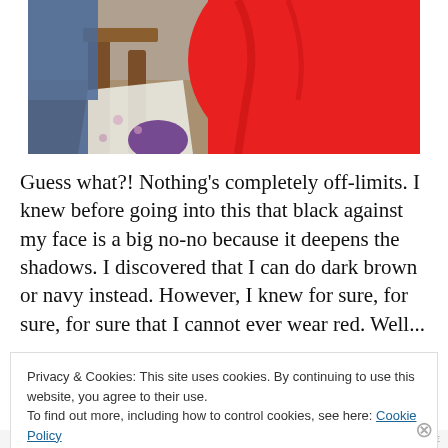[Figure (photo): Partial photo showing a red object (possibly clothing or umbrella), wooden chair/furniture, and fabric with blue and purple elements, viewed from above at an angle.]
Guess what?! Nothing's completely off-limits. I knew before going into this that black against my face is a big no-no because it deepens the shadows. I discovered that I can do dark brown or navy instead. However, I knew for sure, for sure, for sure that I cannot ever wear red. Well...
Privacy & Cookies: This site uses cookies. By continuing to use this website, you agree to their use.
To find out more, including how to control cookies, see here: Cookie Policy